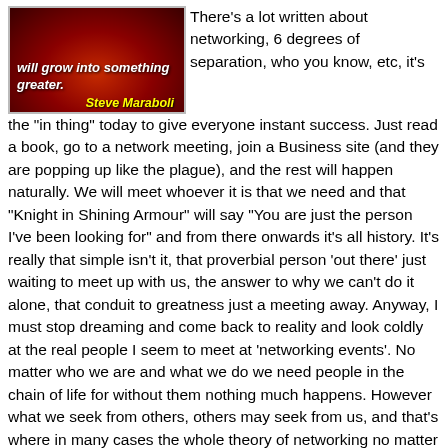[Figure (illustration): Dark red background image with glowing orb effect. White bold italic text reads 'will grow into something greater.' with yellow italic text below reading 'Steve Maraboli']
There's a lot written about networking, 6 degrees of separation, who you know, etc, it's the "in thing" today to give everyone instant success. Just read a book, go to a network meeting, join a Business site (and they are popping up like the plague), and the rest will happen naturally. We will meet whoever it is that we need and that "Knight in Shining Armour" will say "You are just the person I've been looking for" and from there onwards it's all history. It's really that simple isn't it, that proverbial person 'out there' just waiting to meet up with us, the answer to why we can't do it alone, that conduit to greatness just a meeting away. Anyway, I must stop dreaming and come back to reality and look coldly at the real people I seem to meet at 'networking events'. No matter who we are and what we do we need people in the chain of life for without them nothing much happens. However what we seek from others, others may seek from us, and that's where in many cases the whole theory of networking no matter what guise it goes under 6 Degrees or whatever comes tumbling down. It doesn't matter what type of networking we do with all b